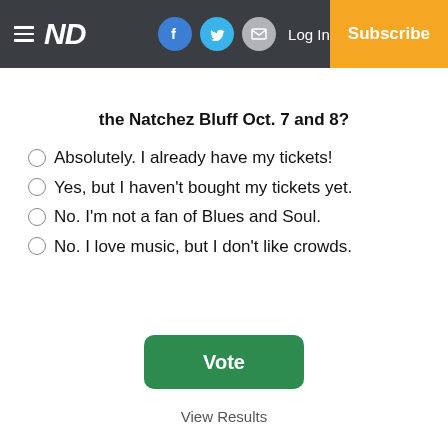ND | Log In | Subscribe
the Natchez Bluff Oct. 7 and 8?
Absolutely. I already have my tickets!
Yes, but I haven't bought my tickets yet.
No. I'm not a fan of Blues and Soul.
No. I love music, but I don't like crowds.
Vote
View Results